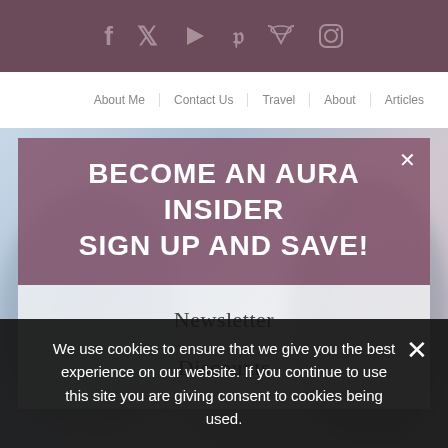Social icons bar: f (Facebook), Twitter, YouTube, Pinterest, RSS, Instagram
Navigation bar: About Me | Contact Us | Travel | About | Articles
BECOME AN AURA INSIDER
SIGN UP AND SAVE!
Newsletter
Discounts
We use cookies to ensure that we give you the best experience on our website. If you continue to use this site you are giving consent to cookies being used.